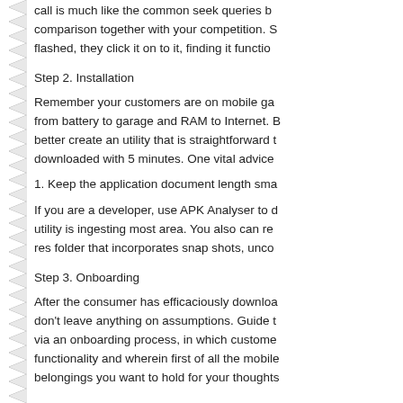call is much like the common seek queries but comparison together with your competition. S flashed, they click it on to it, finding it functio
Step 2. Installation
Remember your customers are on mobile ga from battery to garage and RAM to Internet. better create an utility that is straightforward t downloaded with 5 minutes. One vital advice
1. Keep the application document length sma
If you are a developer, use APK Analyser to d utility is ingesting most area. You also can re res folder that incorporates snap shots, unco
Step 3. Onboarding
After the consumer has efficaciously downloa don't leave anything on assumptions. Guide t via an onboarding process, in which custome functionality and wherein first of all the mobile belongings you want to hold for your thoughts